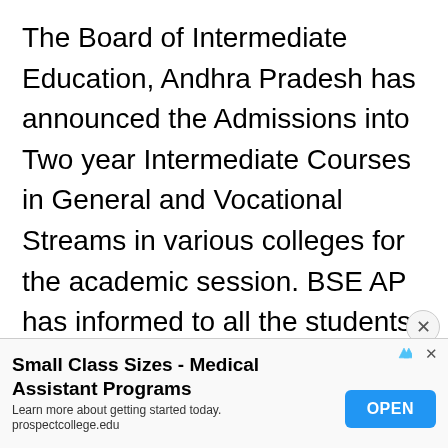The Board of Intermediate Education, Andhra Pradesh has announced the Admissions into Two year Intermediate Courses in General and Vocational Streams in various colleges for the academic session. BSE AP has informed to all the students that the registration process of Two year Intermediate courses will be completely online for all categories and for all quotas.
Small Class Sizes - Medical Assistant Programs
Learn more about getting started today.
prospectcollege.edu